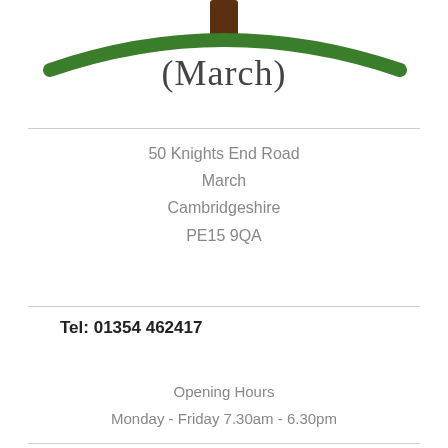[Figure (logo): Tree logo with green hill/arc shape and brown trunk at top, with text (March) below in handwritten style font]
50 Knights End Road
March
Cambridgeshire
PE15 9QA
Tel: 01354 462417
Opening Hours
Monday - Friday 7.30am - 6.30pm